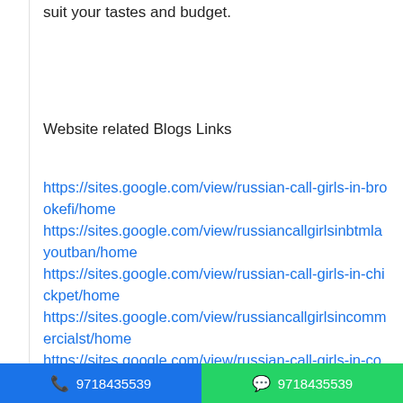suit your tastes and budget.
Website related Blogs Links
https://sites.google.com/view/russian-call-girls-in-brookefi/home
https://sites.google.com/view/russiancallgirlsinbtmlayoutban/home
https://sites.google.com/view/russian-call-girls-in-chickpet/home
https://sites.google.com/view/russiancallgirlsincommercialst/home
https://sites.google.com/view/russian-call-girls-in-cooke.../home
https://...lsincu
9718435539   9718435539